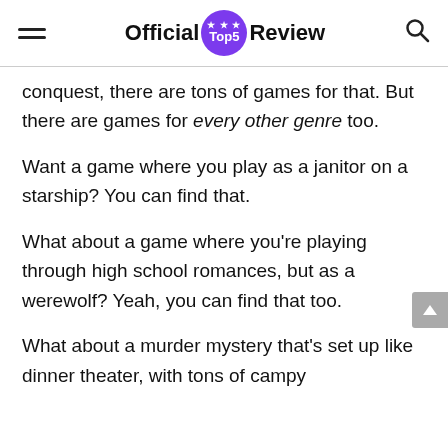Official Top5 Review
conquest, there are tons of games for that. But there are games for every other genre too.
Want a game where you play as a janitor on a starship? You can find that.
What about a game where you're playing through high school romances, but as a werewolf? Yeah, you can find that too.
What about a murder mystery that's set up like dinner theater, with tons of campy